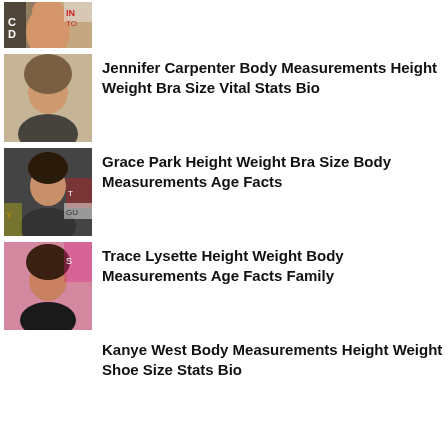[Figure (photo): Partial photo of a woman at top of page, cropped]
Jennifer Carpenter Body Measurements Height Weight Bra Size Vital Stats Bio
[Figure (photo): Photo of Jennifer Carpenter]
Grace Park Height Weight Bra Size Body Measurements Age Facts
[Figure (photo): Photo of Grace Park]
Trace Lysette Height Weight Body Measurements Age Facts Family
[Figure (photo): Photo of Trace Lysette]
Kanye West Body Measurements Height Weight Shoe Size Stats Bio